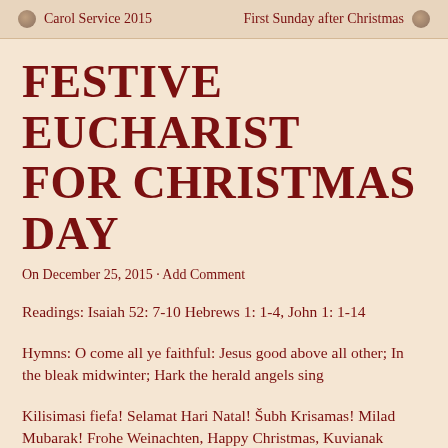Carol Service 2015   First Sunday after Christmas
FESTIVE EUCHARIST FOR CHRISTMAS DAY
On December 25, 2015 · Add Comment
Readings: Isaiah 52: 7-10 Hebrews 1: 1-4, John 1: 1-14
Hymns: O come all ye faithful: Jesus good above all other; In the bleak midwinter; Hark the herald angels sing
Kilisimasi fiefa! Selamat Hari Natal! Šubh Krisamas! Milad Mubarak! Frohe Weinachten, Happy Christmas, Kuvianak Inovia!
These greetings are said by Christians from Tonga to Alaska via Malaysia, India, Syria, and Europe, and thus from coconut palm edged beaches to thick snow and ice.  Anyone  who came here for a white Christmas is disappointed, and indeed many from northern